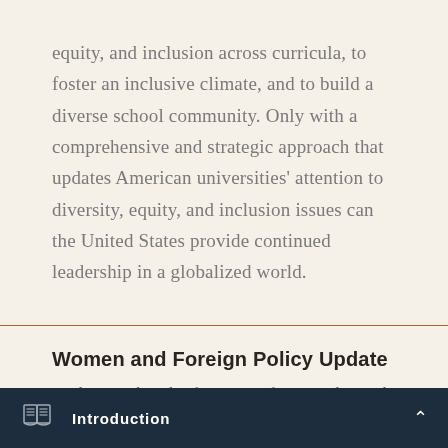equity, and inclusion across curricula, to foster an inclusive climate, and to build a diverse school community. Only with a comprehensive and strategic approach that updates American universities' attention to diversity, equity, and inclusion issues can the United States provide continued leadership in a globalized world.
Women and Foreign Policy Update
Analysis on the role of women in foreign policy and economic development from the Women and Foreign Policy program. Bimonthly.
Introduction